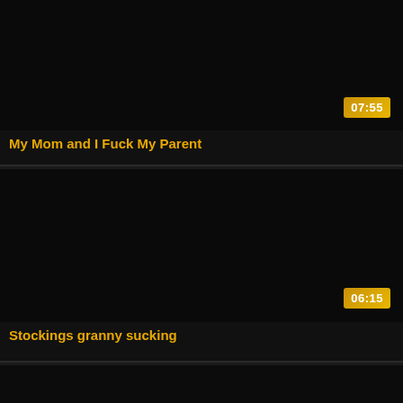[Figure (screenshot): Video thumbnail card 1 - dark/black thumbnail with duration badge 07:55]
My Mom and I Fuck My Parent
[Figure (screenshot): Video thumbnail card 2 - dark/black thumbnail with duration badge 06:15]
Stockings granny sucking
[Figure (screenshot): Video thumbnail card 3 - dark/black thumbnail, partially visible]